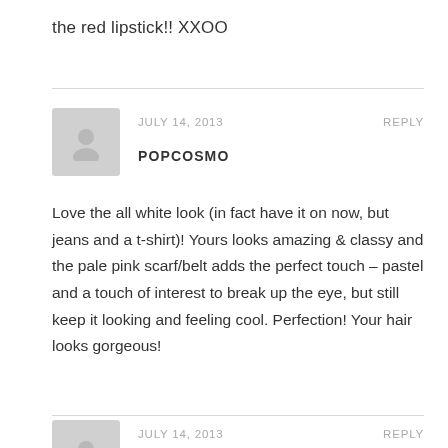the red lipstick!! XXOO
JULY 14, 2013
REPLY
POPCOSMO
Love the all white look (in fact have it on now, but jeans and a t-shirt)! Yours looks amazing & classy and the pale pink scarf/belt adds the perfect touch – pastel and a touch of interest to break up the eye, but still keep it looking and feeling cool. Perfection! Your hair looks gorgeous!
JULY 14, 2013
REPLY
SHEILA (OF EPHEMERA)